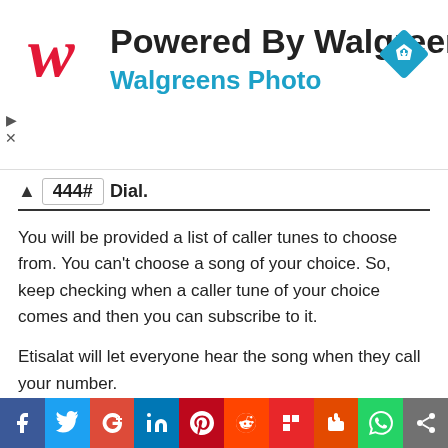[Figure (logo): Powered By Walgreens advertisement banner with Walgreens cursive W logo in red, title text 'Powered By Walgreens', subtitle 'Walgreens Photo' in teal, and a blue diamond navigation icon]
Dial. 444#
You will be provided a list of caller tunes to choose from. You can't choose a song of your choice. So, keep checking when a caller tune of your choice comes and then you can subscribe to it.
Etisalat will let everyone hear the song when they call your number.
That's how easy it is to Subscribe to Etisalat Caller tune in UAE.
[Figure (infographic): Social sharing bar with icons for Facebook, Twitter, Google+, LinkedIn, Pinterest, Reddit, Flipboard, StumbleUpon, WhatsApp, and Share]